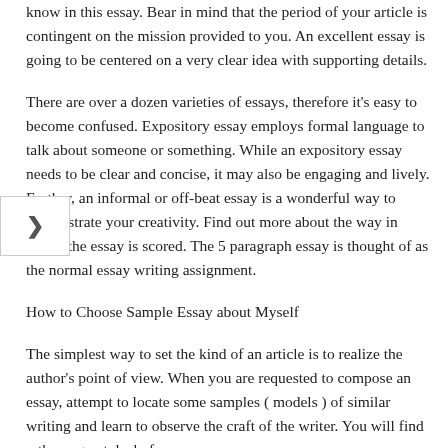know in this essay. Bear in mind that the period of your article is contingent on the mission provided to you. An excellent essay is going to be centered on a very clear idea with supporting details.
There are over a dozen varieties of essays, therefore it's easy to become confused. Expository essay employs formal language to talk about someone or something. While an expository essay needs to be clear and concise, it may also be engaging and lively. Further, an informal or off-beat essay is a wonderful way to demonstrate your creativity. Find out more about the way in which the essay is scored. The 5 paragraph essay is thought of as the normal essay writing assignment.
How to Choose Sample Essay about Myself
The simplest way to set the kind of an article is to realize the author's point of view. When you are requested to compose an essay, attempt to locate some samples ( models ) of similar writing and learn to observe the craft of the writer. You will find rather a great deal of